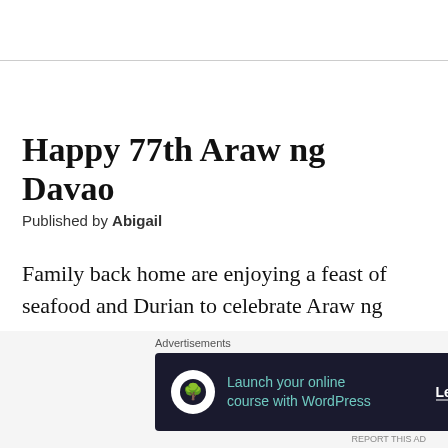Happy 77th Araw ng Davao
Published by Abigail
Family back home are enjoying a feast of seafood and Durian to celebrate Araw ng Davao. Sweet stinky Durian, how I miss you!
[Figure (other): Advertisement banner: Launch your online course with WordPress — Learn More button, with a tree/person icon on dark background]
Advertisements